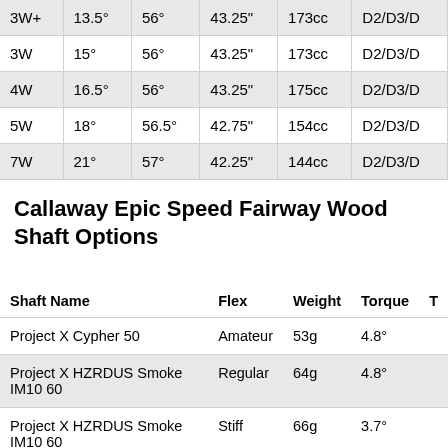| Club | Loft | Lie | Length | Volume | Swing Weight |
| --- | --- | --- | --- | --- | --- |
| 3W+ | 13.5° | 56° | 43.25" | 173cc | D2/D3/D... |
| 3W | 15° | 56° | 43.25" | 173cc | D2/D3/D... |
| 4W | 16.5° | 56° | 43.25" | 175cc | D2/D3/D... |
| 5W | 18° | 56.5° | 42.75" | 154cc | D2/D3/D... |
| 7W | 21° | 57° | 42.25" | 144cc | D2/D3/D... |
Callaway Epic Speed Fairway Wood Shaft Options
| Shaft Name | Flex | Weight | Torque | T... |
| --- | --- | --- | --- | --- |
| Project X Cypher 50 | Amateur | 53g | 4.8° |  |
| Project X HZRDUS Smoke IM10 60 | Regular | 64g | 4.8° |  |
| Project X HZRDUS Smoke IM10 60 | Stiff | 66g | 3.7° |  |
| Project X HZRDUS Smoke IM10 70 | Stiff | 74g | 3.2° |  |
| Mitsubishi MMT Wood 70 | X-Stiff | 70g | 3.1° |  |